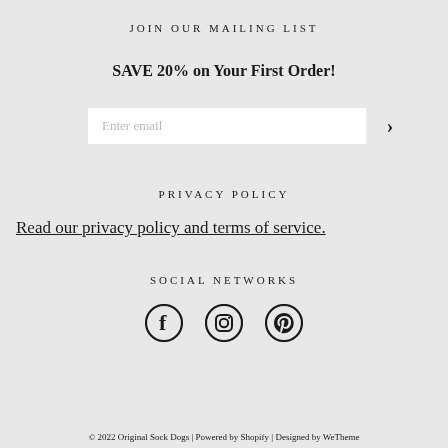JOIN OUR MAILING LIST
SAVE 20% on Your First Order!
Enter email
PRIVACY POLICY
Read our privacy policy and terms of service.
SOCIAL NETWORKS
[Figure (other): Social media icons: Facebook, Instagram, Pinterest]
© 2022 Original Sock Dogs | Powered by Shopify | Designed by WeTheme